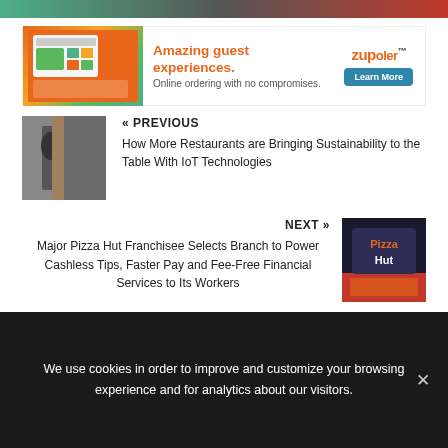[Figure (other): Top banner strip with gradient colors]
[Figure (other): Advertisement banner for Zupoler online ordering. Headline: Amazing guest experiences. Subtext: Online ordering with no compromises. Learn More button.]
« PREVIOUS
How More Restaurants are Bringing Sustainability to the Table With IoT Technologies
NEXT »
Major Pizza Hut Franchisee Selects Branch to Power Cashless Tips, Faster Pay and Fee-Free Financial Services to Its Workers
We use cookies in order to improve and customize your browsing experience and for analytics about our visitors.